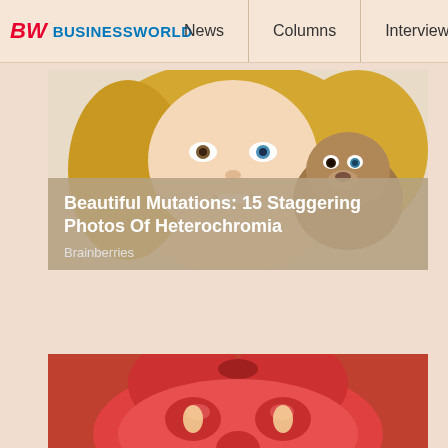BW BUSINESSWORLD | News | Columns | Interviews | BW
[Figure (photo): Blonde woman with heterochromia holding a puppy that also has different colored eyes, close-up portrait photo]
Beautiful Mutations: 15 Staggering Photos Of Heterochromia
Brainberries
[Figure (photo): Close-up of a sliced red tomato being held by a hand, showing the inside cross-section]